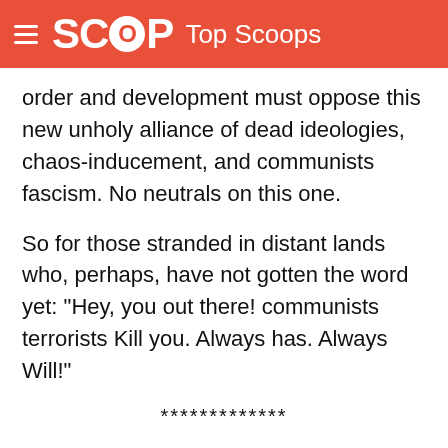SCOOP Top Scoops
order and development must oppose this new unholy alliance of dead ideologies, chaos-inducement, and communists fascism. No neutrals on this one.
So for those stranded in distant lands who, perhaps, have not gotten the word yet: "Hey, you out there! communists terrorists Kill you. Always has. Always Will!"
*************
(Kamala Sarup, a PhD scholar has been published in World Security Network (WSN), World Press, Global Politician, Scoop Media, Wizard.com, Crossfire,